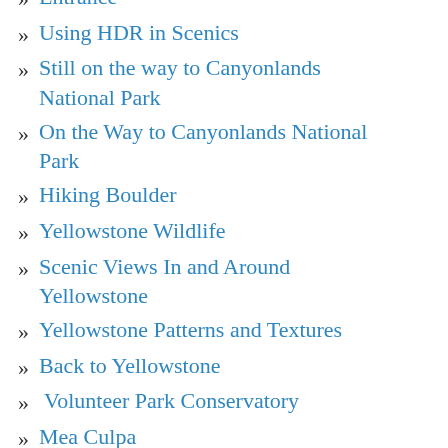Entrance
Using HDR in Scenics
Still on the way to Canyonlands National Park
On the Way to Canyonlands National Park
Hiking Boulder
Yellowstone Wildlife
Scenic Views In and Around Yellowstone
Yellowstone Patterns and Textures
Back to Yellowstone
Volunteer Park Conservatory
Mea Culpa
Indian Summer
Joyce's "Eveline
Redwoods Revisited